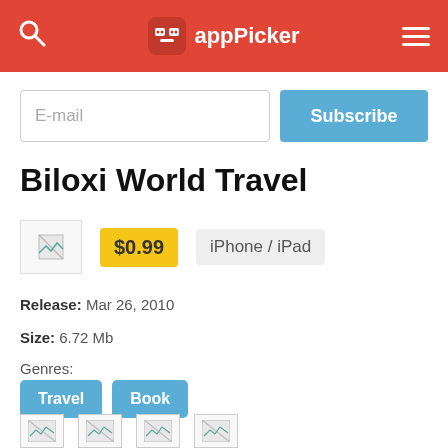appPicker
E-mail
Subscribe
Biloxi World Travel
$0.99  iPhone / iPad
Release: Mar 26, 2010
Size: 6.72 Mb
Genres:
Travel
Book
[Figure (screenshot): Four small app screenshot thumbnails]